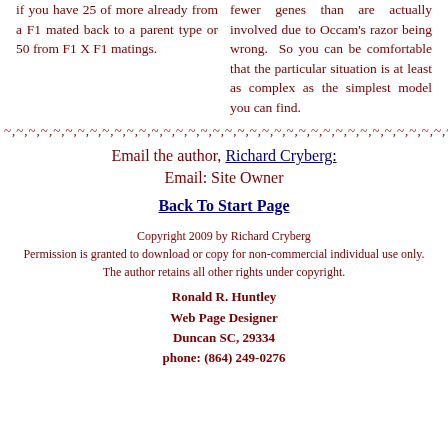if you have 25 of more already from a F1 mated back to a parent type or 50 from F1 X F1 matings.
fewer genes than are actually involved due to Occam's razor being wrong. So you can be comfortable that the particular situation is at least as complex as the simplest model you can find.
~,~,~,~,~,~,~,~,~,~,~,~,~,~,~,~,~,~,~,~,~,~,~,~,~,~,~,~,~,~,~,~,~,~,~,~,~,
Email the author, Richard Cryberg:
Email: Site Owner
Back To Start Page
Copyright 2009 by Richard Cryberg
Permission is granted to download or copy for non-commercial individual use only.
The author retains all other rights under copyright.
Ronald R. Huntley
Web Page Designer
Duncan SC, 29334
phone: (864) 249-0276